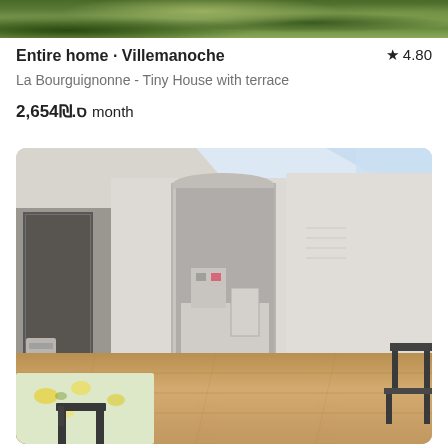[Figure (photo): Top portion of outdoor/nature photo, cropped at top of page]
Entire home · Villemanoche  ★ 4.80
La Bourguignonne - Tiny House with terrace
2,654₪.ס month
[Figure (photo): Interior photo of a tiny house attic room with slanted ceiling, wooden floor, kitchen area visible through an arch, table with floral tablecloth in foreground, dark chair, small side table on right]